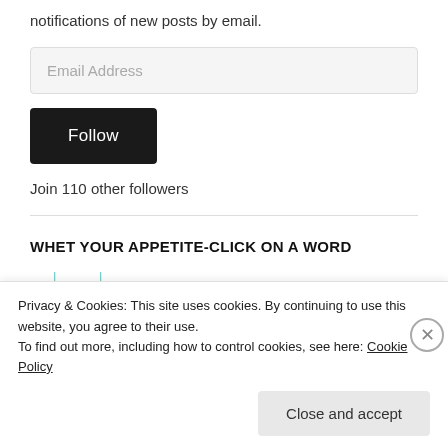notifications of new posts by email.
Email Address
Follow
Join 110 other followers
WHET YOUR APPETITE-CLICK ON A WORD
Privacy & Cookies: This site uses cookies. By continuing to use this website, you agree to their use.
To find out more, including how to control cookies, see here: Cookie Policy
Close and accept